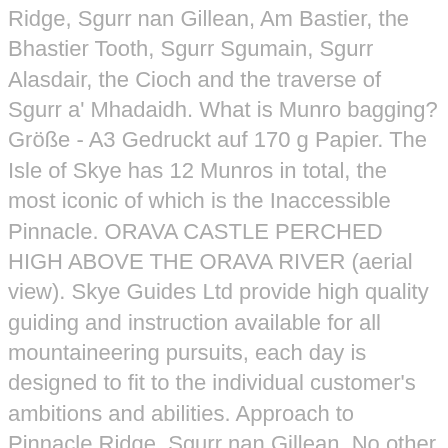Ridge, Sgurr nan Gillean, Am Bastier, the Bhastier Tooth, Sgurr Sgumain, Sgurr Alasdair, the Cioch and the traverse of Sgurr a' Mhadaidh. What is Munro bagging? Größe - A3 Gedruckt auf 170 g Papier. The Isle of Skye has 12 Munros in total, the most iconic of which is the Inaccessible Pinnacle. ORAVA CASTLE PERCHED HIGH ABOVE THE ORAVA RIVER (aerial view). Skye Guides Ltd provide high quality guiding and instruction available for all mountaineering pursuits, each day is designed to fit to the individual customer's ambitions and abilities. Approach to Pinnacle Ridge, Sgurr nan Gillean. No other ridge in the United Kingdom offers more exposed and continuous scrambling than the Skye Cuillin Ridge. The Fionn Choire Horseshoe Scurr Nan Gillean by Pinnacle Ridge Cuillin Ridge Traverse Blaven and Clach Glas Traverse. No need to register, buy now! Gear up at the bottom of that gully and follow it on up, keeping to the left-hand side. Nigel, Alec and Norrie completed; Blaven, Bruach na Frithe and Sgurr na Banachdich. Home About Booking Contact Blog Protect Our